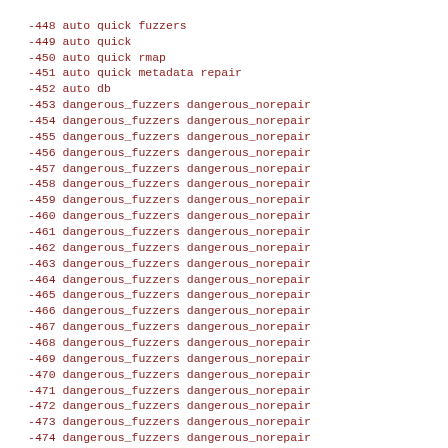-448 auto quick fuzzers
-449 auto quick
-450 auto quick rmap
-451 auto quick metadata repair
-452 auto db
-453 dangerous_fuzzers dangerous_norepair
-454 dangerous_fuzzers dangerous_norepair
-455 dangerous_fuzzers dangerous_norepair
-456 dangerous_fuzzers dangerous_norepair
-457 dangerous_fuzzers dangerous_norepair
-458 dangerous_fuzzers dangerous_norepair
-459 dangerous_fuzzers dangerous_norepair
-460 dangerous_fuzzers dangerous_norepair
-461 dangerous_fuzzers dangerous_norepair
-462 dangerous_fuzzers dangerous_norepair
-463 dangerous_fuzzers dangerous_norepair
-464 dangerous_fuzzers dangerous_norepair
-465 dangerous_fuzzers dangerous_norepair
-466 dangerous_fuzzers dangerous_norepair
-467 dangerous_fuzzers dangerous_norepair
-468 dangerous_fuzzers dangerous_norepair
-469 dangerous_fuzzers dangerous_norepair
-470 dangerous_fuzzers dangerous_norepair
-471 dangerous_fuzzers dangerous_norepair
-472 dangerous_fuzzers dangerous_norepair
-473 dangerous_fuzzers dangerous_norepair
-474 dangerous_fuzzers dangerous_norepair
-475 dangerous_fuzzers dangerous_norepair
-476 dangerous_fuzzers dangerous_norepair
-477 dangerous_fuzzers dangerous_norepair
-478 dangerous_fuzzers dangerous_norepair